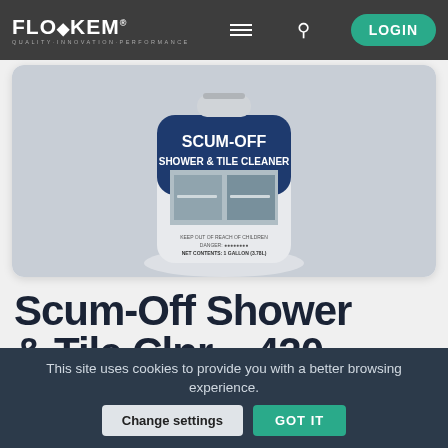FLOSKEM QUALITY-INNOVATION-PERFORMANCE — LOGIN
[Figure (photo): Floskem Scum-Off Shower & Tile Cleaner product bottle (1 gallon, Non-Acid Formula) displayed against a light grey background inside a white rounded card]
Scum-Off Shower & Tile Clnr – 420
Non-Acid Formula
This site uses cookies to provide you with a better browsing experience.
Change settings
GOT IT